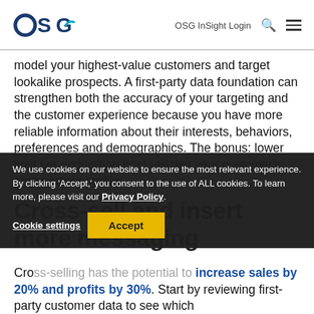OSG  OSG InSight Login
model your highest-value customers and target lookalike prospects. A first-party data foundation can strengthen both the accuracy of your targeting and the customer experience because you have more reliable information about their interests, behaviors, preferences and demographics. The bonus: lower cost per acquisition from utilizing your customer's engagement profile.
Cross-sell and insert more messaging
We use cookies on our website to ensure the most relevant experience. By clicking 'Accept,' you consent to the use of ALL cookies. To learn more, please visit our Privacy Policy.
Cross-selling has the potential to increase sales by 20% and profits by 30%. Start by reviewing first-party customer data to see which